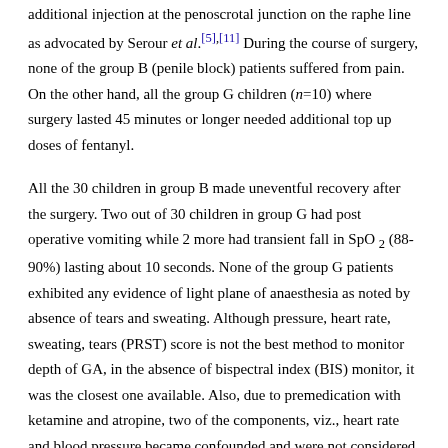additional injection at the penoscrotal junction on the raphe line as advocated by Serour et al.[5],[11] During the course of surgery, none of the group B (penile block) patients suffered from pain. On the other hand, all the group G children (n=10) where surgery lasted 45 minutes or longer needed additional top up doses of fentanyl.
All the 30 children in group B made uneventful recovery after the surgery. Two out of 30 children in group G had post operative vomiting while 2 more had transient fall in SpO2 (88- 90%) lasting about 10 seconds. None of the group G patients exhibited any evidence of light plane of anaesthesia as noted by absence of tears and sweating. Although pressure, heart rate, sweating, tears (PRST) score is not the best method to monitor depth of GA, in the absence of bispectral index (BIS) monitor, it was the closest one available. Also, due to premedication with ketamine and atropine, two of the components, viz., heart rate and blood pressure became confounded and were not considered for evaluating depth of GA.
Intra operatively, it was noted that the heart rate and mean arterial pressure in group G remained significantly higher than in group B. At most of the time intervals, this observation could be explained either as a stress response to